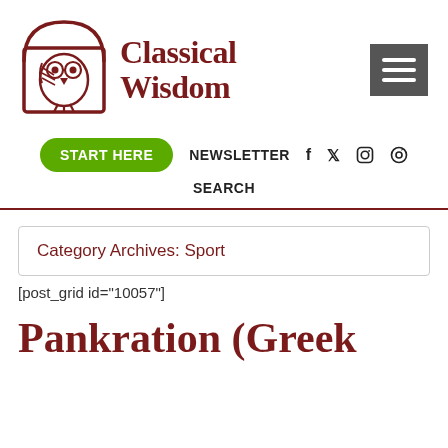[Figure (logo): Classical Wisdom owl logo in dark red with arch border]
Classical Wisdom
START HERE  NEWSLETTER  f  y  Instagram  Pinterest
SEARCH
Category Archives: Sport
[post_grid id="10057"]
Pankration (Greek